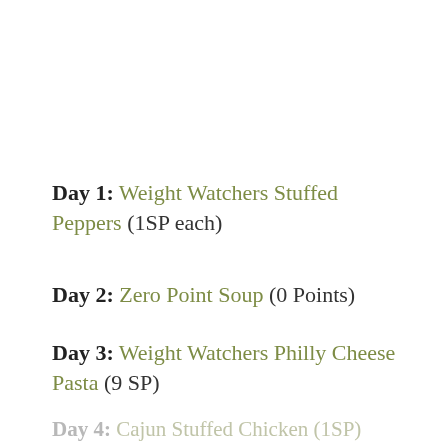Day 1: Weight Watchers Stuffed Peppers (1SP each)
Day 2: Zero Point Soup (0 Points)
Day 3: Weight Watchers Philly Cheese Pasta (9 SP)
Day 4: Cajun Stuffed Chicken (1SP)